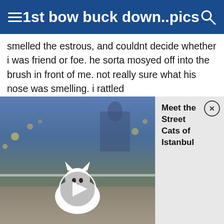1st bow buck down..pics
smelled the estrous, and couldnt decide whether i was friend or foe. he sorta mosyed off into the brush in front of me. not really sure what his nose was smelling. i rattled
[Figure (photo): Video thumbnail showing a cat sitting on a street with city lights and a mosque in the background at dusk. A play button overlay is shown. An ad panel reads 'Meet the Street Cats of Istanbul' with a close button.]
range, i grabbed my true talker and grunted at him. he didnt stop. after a few more grunts, i knew he wouldnt stop. at 80 yards and walking away from me, i pulled out all the stops and snort wheezed with my mouth.
1st time, no effect. 2nd time, no effect. third time, he stopped and looked up in my direction. i was surprised to see him still walk straight ahead. i was really disappointed now and was praying like hell he came back through. 2 minutes later, there he was! he came in hair up, chin tucked